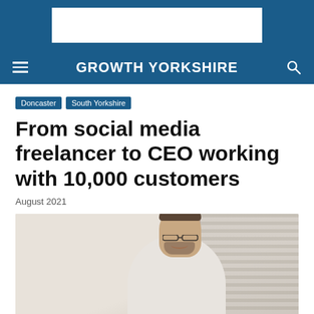[Figure (other): Advertisement banner with white rectangle on blue background]
GROWTH YORKSHIRE
Doncaster
South Yorkshire
From social media freelancer to CEO working with 10,000 customers
August 2021
[Figure (photo): Photo of a smiling man with glasses and a beard, wearing a white shirt, standing in an office or room with window blinds visible in the background]